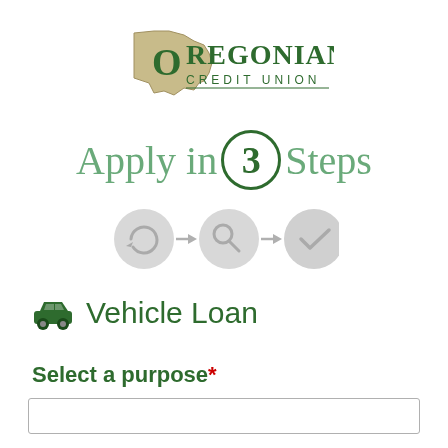[Figure (logo): Oregonians Credit Union logo with Oregon state shape in tan/beige and green text reading OREGONIANS CREDIT UNION]
Apply in 3 Steps
[Figure (infographic): Three step process icons: a refresh/apply icon, an arrow, a search/review icon, an arrow, and a checkmark/approval icon, all in light gray]
Vehicle Loan
Select a purpose*